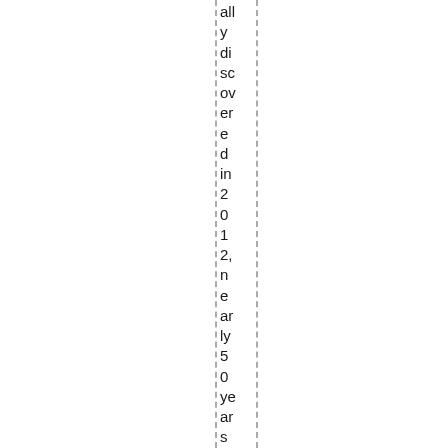ally discovered in 2012, nearly 50 years after it was first